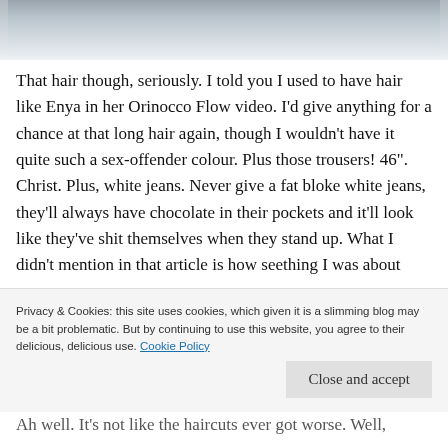[Figure (photo): Partial photograph showing a light-colored background, cropped at top of page]
That hair though, seriously. I told you I used to have hair like Enya in her Orinocco Flow video. I'd give anything for a chance at that long hair again, though I wouldn't have it quite such a sex-offender colour. Plus those trousers! 46". Christ. Plus, white jeans. Never give a fat bloke white jeans, they'll always have chocolate in their pockets and it'll look like they've shit themselves when they stand up. What I didn't mention in that article is how seething I was about
Privacy & Cookies: this site uses cookies, which given it is a slimming blog may be a bit problematic. But by continuing to use this website, you agree to their delicious, delicious use. Cookie Policy
Close and accept
Ah well. It's not like the haircuts ever got worse. Well,